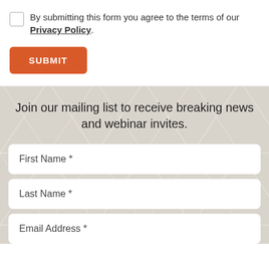By submitting this form you agree to the terms of our Privacy Policy.
SUBMIT
Join our mailing list to receive breaking news and webinar invites.
First Name *
Last Name *
Email Address *